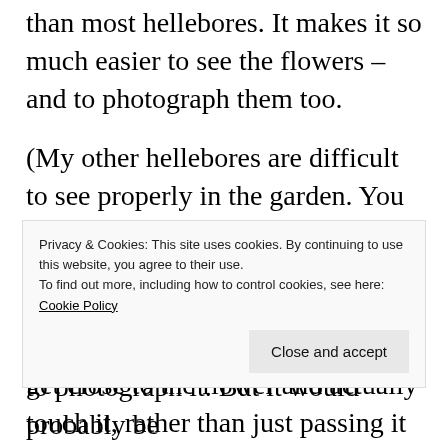than most hellebores. It makes it so much easier to see the flowers – and to photograph them too.
(My other hellebores are difficult to see properly in the garden. You really have to take the time to turn the flower head upwards if you want to look at the detail. But that has the advantage of making you get close to the flower and actually touch it, rather than just passing it by. So they're
Privacy & Cookies: This site uses cookies. By continuing to use this website, you agree to their use. To find out more, including how to control cookies, see here: Cookie Policy
to photograph it. But it would probably be